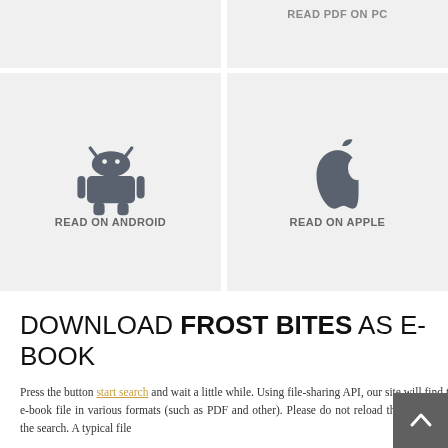[Figure (screenshot): Top-left card placeholder, partially visible]
READ PDF ON PC
[Figure (illustration): Card with Android robot icon and label READ ON ANDROID]
[Figure (illustration): Card with Apple logo icon and label READ ON APPLE]
DOWNLOAD FROST BITES AS E-BOOK
Press the button start search and wait a little while. Using file-sharing API, our site will find the e-book file in various formats (such as PDF and other). Please do not reload the page during the search. A typical file